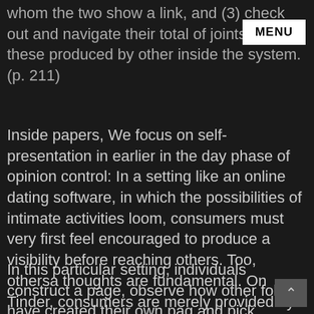whom the two show a link, and (3) check out and navigate their total of joints and these produced by other inside the system. (p. 211)
MENU
Inside papers, We focus on self-presentation in earlier in the day phase of opinion control: In a setting like an online dating software, in which the possibilities of intimate activities loom, consumers must very first feel encouraged to produce a visibility before reaching others. Too, othersa thoughts are fundamental. On Tinder, consumers are merely provided by glowing support in the form of a good match. People commonly clearly conscious of having refused all of them.
In this particular setting, individuals construct a page, observe how other folks have created their own pag and pick possible meets centered on these profiles. On